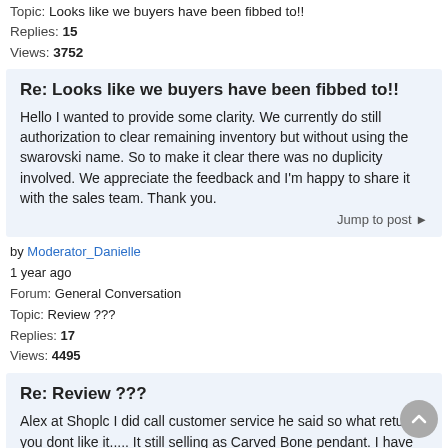Topic: Looks like we buyers have been fibbed to!!
Replies: 15
Views: 3752
Re: Looks like we buyers have been fibbed to!!
Hello I wanted to provide some clarity. We currently do still authorization to clear remaining inventory but without using the swarovski name. So to make it clear there was no duplicity involved. We appreciate the feedback and I'm happy to share it with the sales team. Thank you.
Jump to post ▶
by Moderator_Danielle
1 year ago
Forum: General Conversation
Topic: Review ???
Replies: 17
Views: 4495
Re: Review ???
Alex at Shoplc I did call customer service he said so what return if you dont like it..... It still selling as Carved Bone pendant. I have several Bali pieces and I do believe its real hope that helps I think its important that WE the customer's can have faith that what we are buying is what is rep...